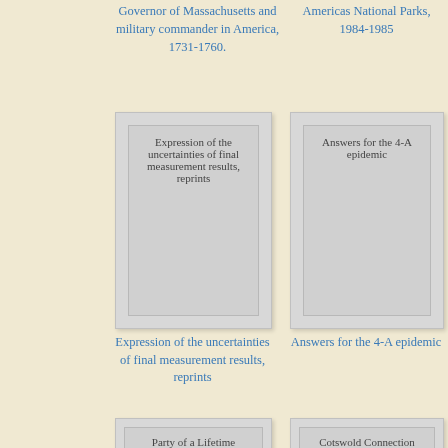Governor of Massachusetts and military commander in America, 1731-1760.
Americas National Parks, 1984-1985
[Figure (other): Book cover placeholder for 'Expression of the uncertainties of final measurement results, reprints']
[Figure (other): Book cover placeholder for 'Answers for the 4-A epidemic']
Expression of the uncertainties of final measurement results, reprints
Answers for the 4-A epidemic
[Figure (other): Book cover placeholder for 'Party of a Lifetime']
[Figure (other): Book cover placeholder for 'Cotswold Connection']